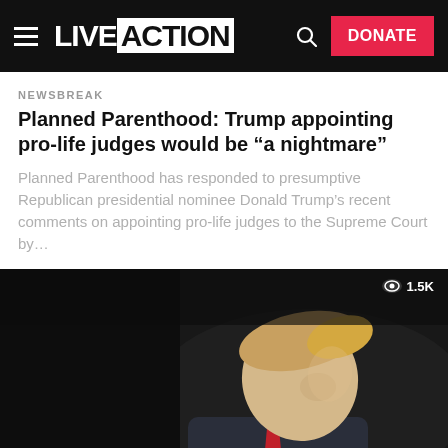LIVE ACTION | DONATE
NEWSBREAK
Planned Parenthood: Trump appointing pro-life judges would be “a nightmare”
Planned Parenthood has responded to presumptive Republican presidential nominee Donald Trump’s recent comments on appointing pro-life judges to the Supreme Court by…
[Figure (photo): Dark photo of Donald Trump in profile, wearing a suit with red tie, viewed from the side against a dark background. A view count badge showing an eye icon and '1.5K' is visible in the top right corner.]
POLITICS
Trump’s promise of pro-life judges is a good start, but needs some work
Now that Donald Trump has effectively secured the Republican